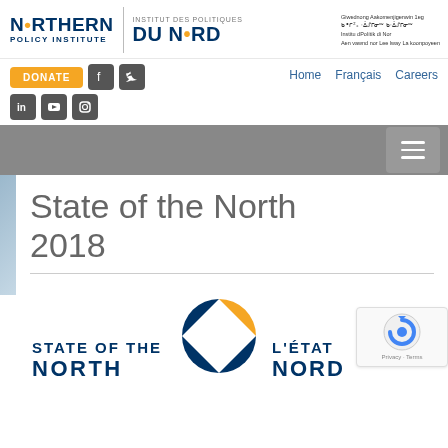[Figure (logo): Northern Policy Institute / Institut des Politiques du Nord logo with multilingual text]
[Figure (screenshot): Website navigation bar with Donate button, social media icons (Facebook, Twitter, LinkedIn, YouTube, Instagram), and nav links (Home, Français, Careers)]
[Figure (screenshot): Gray hamburger menu bar]
State of the North 2018
[Figure (logo): State of the North / L'état du Nord 2018 report logo with circular graphic]